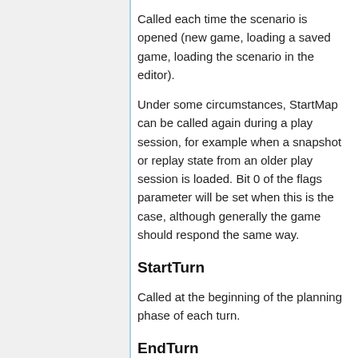Called each time the scenario is opened (new game, loading a saved game, loading the scenario in the editor).
Under some circumstances, StartMap can be called again during a play session, for example when a snapshot or replay state from an older play session is loaded. Bit 0 of the flags parameter will be set when this is the case, although generally the game should respond the same way.
StartTurn
Called at the beginning of the planning phase of each turn.
EndTurn
Called at the end of the resolution phase of each turn. Happens during the